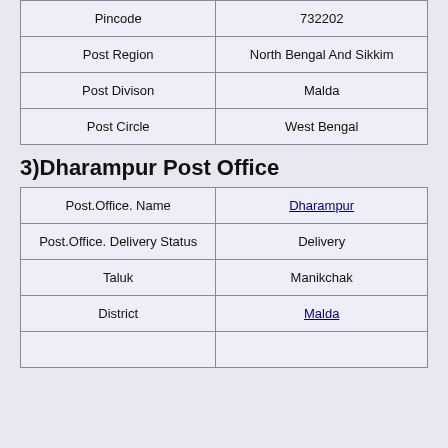| Field | Value |
| --- | --- |
| Pincode | 732202 |
| Post Region | North Bengal And Sikkim |
| Post Divison | Malda |
| Post Circle | West Bengal |
3)Dharampur Post Office
| Field | Value |
| --- | --- |
| Post.Office. Name | Dharampur |
| Post.Office. Delivery Status | Delivery |
| Taluk | Manikchak |
| District | Malda |